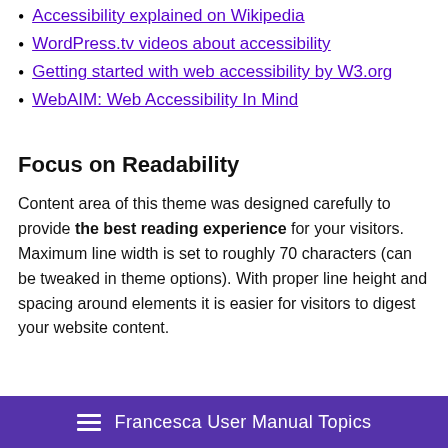Accessibility explained on Wikipedia
WordPress.tv videos about accessibility
Getting started with web accessibility by W3.org
WebAIM: Web Accessibility In Mind
Focus on Readability
Content area of this theme was designed carefully to provide the best reading experience for your visitors. Maximum line width is set to roughly 70 characters (can be tweaked in theme options). With proper line height and spacing around elements it is easier for visitors to digest your website content.
Francesca User Manual Topics